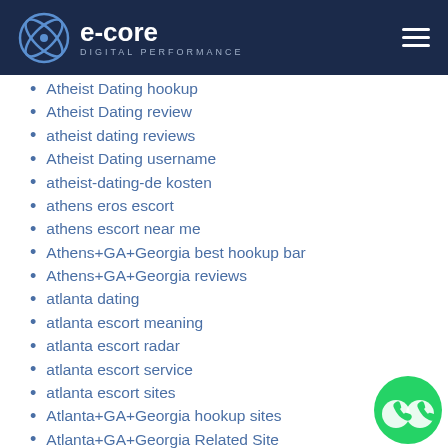e-core DIGITAL PERFORMANCE
Atheist Dating hookup
Atheist Dating review
atheist dating reviews
Atheist Dating username
atheist-dating-de kosten
athens eros escort
athens escort near me
Athens+GA+Georgia best hookup bar
Athens+GA+Georgia reviews
atlanta dating
atlanta escort meaning
atlanta escort radar
atlanta escort service
atlanta escort sites
Atlanta+GA+Georgia hookup sites
Atlanta+GA+Georgia Related Site
aubrey USA review
aubrey USA reviews
augusta escort directory
augusta escort meaning
augusta escort review
[Figure (logo): WhatsApp floating icon in bottom right corner]